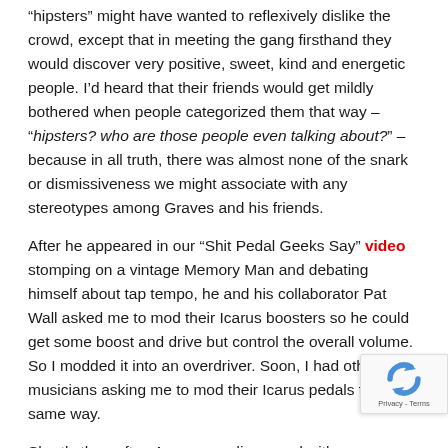“hipsters” might have wanted to reflexively dislike the crowd, except that in meeting the gang firsthand they would discover very positive, sweet, kind and energetic people. I’d heard that their friends would get mildly bothered when people categorized them that way – “hipsters? who are those people even talking about?” – because in all truth, there was almost none of the snark or dismissiveness we might associate with any stereotypes among Graves and his friends.
After he appeared in our “Shit Pedal Geeks Say” video stomping on a vintage Memory Man and debating himself about tap tempo, he and his collaborator Pat Wall asked me to mod their Icarus boosters so he could get some boost and drive but control the overall volume. So I modded it into an overdriver. Soon, I had other musicians asking me to mod their Icarus pedals the same way.
Shortly thereafter, Aaron was diagnosed with can... 2014. The community rallied behind him. Our loc... restaurant El Burrito donated the proceeds of their...